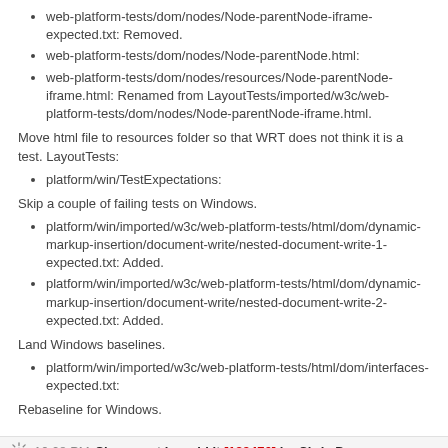web-platform-tests/dom/nodes/Node-parentNode-iframe-expected.txt: Removed.
web-platform-tests/dom/nodes/Node-parentNode.html:
web-platform-tests/dom/nodes/resources/Node-parentNode-iframe.html: Renamed from LayoutTests/imported/w3c/web-platform-tests/dom/nodes/Node-parentNode-iframe.html.
Move html file to resources folder so that WRT does not think it is a test. LayoutTests:
platform/win/TestExpectations:
Skip a couple of failing tests on Windows.
platform/win/imported/w3c/web-platform-tests/html/dom/dynamic-markup-insertion/document-write/nested-document-write-1-expected.txt: Added.
platform/win/imported/w3c/web-platform-tests/html/dom/dynamic-markup-insertion/document-write/nested-document-write-2-expected.txt: Added.
Land Windows baselines.
platform/win/imported/w3c/web-platform-tests/html/dom/interfaces-expected.txt:
Rebaseline for Windows.
10:08 PM Changeset in webkit [189476] by Chris Dumez
7 edits   925 copies   499 adds   3 deletes   in trunk/LayoutTests
Unreviewed, move html/semantics W3C tests to imported/w3c/web-platform-